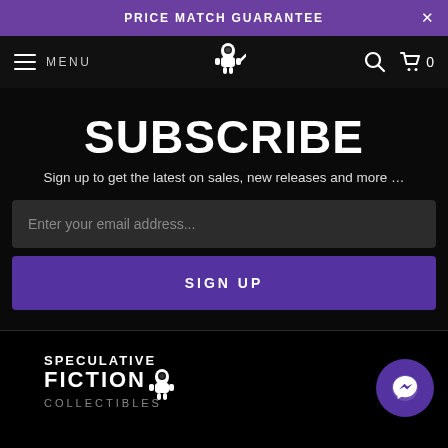PRICE MATCH GUARANTEE
SUBSCRIBE
Sign up to get the latest on sales, new releases and more …
Enter your email address...
SIGN UP
[Figure (logo): Speculative Fiction Collectibles logo with astronaut figure]
[Figure (other): Facebook Messenger chat bubble icon]